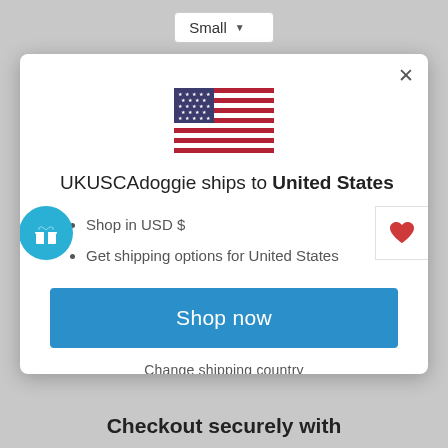[Figure (screenshot): Dropdown selector showing 'Small' with a down arrow, on a grey background]
[Figure (infographic): Modal dialog with US flag, shipping info for United States, bullet points, Shop now button, and Change shipping country link. Overlaid with a teal gift icon circle on the left and a white heart box on the right.]
UKUSCAdoggie ships to United States
Shop in USD $
Get shipping options for United States
Shop now
Change shipping country
Checkout securely with